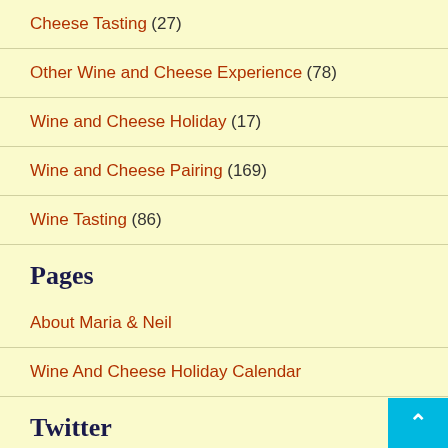Cheese Tasting (27)
Other Wine and Cheese Experience (78)
Wine and Cheese Holiday (17)
Wine and Cheese Pairing (169)
Wine Tasting (86)
Pages
About Maria & Neil
Wine And Cheese Holiday Calendar
Twitter